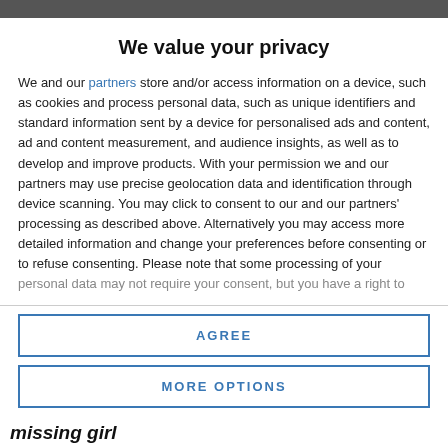We value your privacy
We and our partners store and/or access information on a device, such as cookies and process personal data, such as unique identifiers and standard information sent by a device for personalised ads and content, ad and content measurement, and audience insights, as well as to develop and improve products. With your permission we and our partners may use precise geolocation data and identification through device scanning. You may click to consent to our and our partners' processing as described above. Alternatively you may access more detailed information and change your preferences before consenting or to refuse consenting. Please note that some processing of your personal data may not require your consent, but you have a right to
AGREE
MORE OPTIONS
missing girl